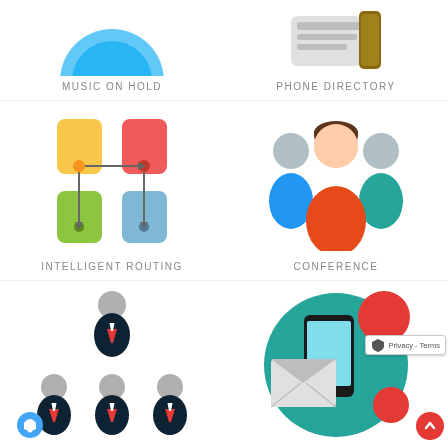[Figure (illustration): Music on Hold icon – partial blue circular icon at top]
MUSIC ON HOLD
[Figure (illustration): Phone Directory icon – grey and gold/brown rectangular shapes]
PHONE DIRECTORY
[Figure (illustration): Intelligent Routing icon – yellow, red, green, blue rectangles with arrows showing routing flow]
INTELLIGENT ROUTING
[Figure (illustration): Conference icon – three person figures in orange, teal and blue]
CONFERENCE
[Figure (illustration): Group of three business people icons in dark navy with red ties and grey heads]
[Figure (illustration): Mobile messaging icon – teal circle with smartphone, envelope, and red notification circles; Privacy-Terms badge overlay; red scroll-to-top button]